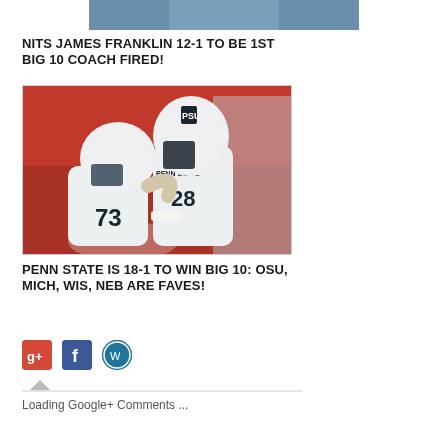[Figure (photo): Partial top image of a person, cropped at top of page]
NITS JAMES FRANKLIN 12-1 TO BE 1ST BIG 10 COACH FIRED!
[Figure (photo): Two Penn State football players in white helmets and jerseys, numbers 73 and 28, embracing on the field with a blurred red background]
PENN STATE IS 18-1 TO WIN BIG 10: OSU, MICH, WIS, NEB ARE FAVES!
[Figure (other): Social media share icons: Google+, Facebook, WordPress]
Loading Google+ Comments ...